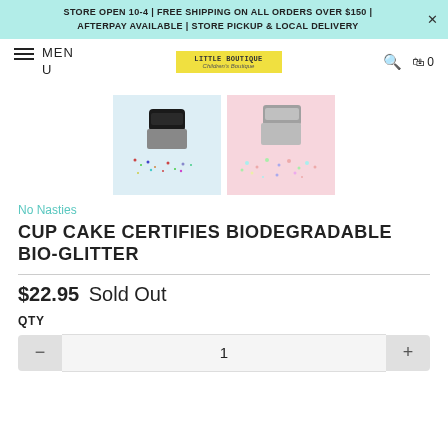STORE OPEN 10-4 | FREE SHIPPING ON ALL ORDERS OVER $150 | AFTERPAY AVAILABLE | STORE PICKUP & LOCAL DELIVERY
MENU
[Figure (logo): Little Boutique Children's Boutique logo with yellow background]
[Figure (photo): Two glitter jars with bio-glitter spilled out, one on light blue background, one on pink background]
No Nasties
CUP CAKE CERTIFIES BIODEGRADABLE BIO-GLITTER
$22.95  Sold Out
QTY
1